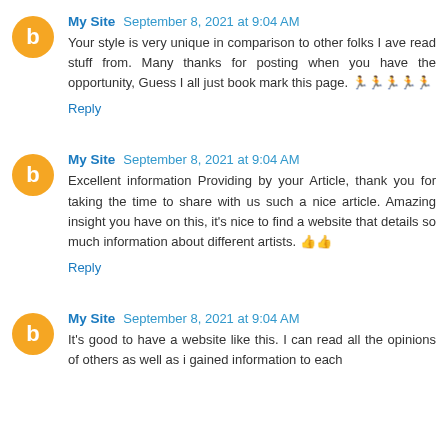My Site  September 8, 2021 at 9:04 AM
Your style is very unique in comparison to other folks I ave read stuff from. Many thanks for posting when you have the opportunity, Guess I all just book mark this page. 🏃🏃🏃🏃🏃
Reply
My Site  September 8, 2021 at 9:04 AM
Excellent information Providing by your Article, thank you for taking the time to share with us such a nice article. Amazing insight you have on this, it's nice to find a website that details so much information about different artists. 👍👍
Reply
My Site  September 8, 2021 at 9:04 AM
It's good to have a website like this. I can read all the opinions of others as well as i gained information to each and every one as a service. And then we continued...